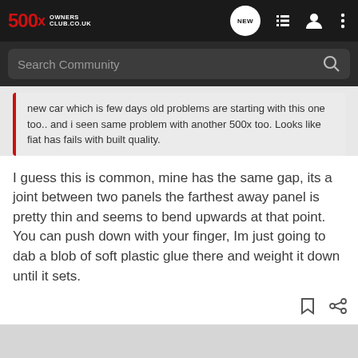500X OWNERS CLUB.CO.UK
Search Community
new car which is few days old problems are starting with this one too.. and i seen same problem with another 500x too. Looks like fiat has fails with built quality.
I guess this is common, mine has the same gap, its a joint between two panels the farthest away panel is pretty thin and seems to bend upwards at that point. You can push down with your finger, Im just going to dab a blob of soft plastic glue there and weight it down until it sets.